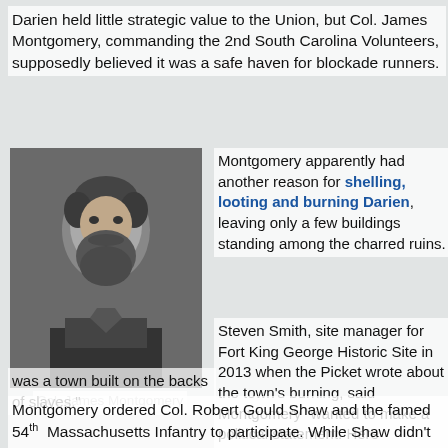Darien held little strategic value to the Union, but Col. James Montgomery, commanding the 2nd South Carolina Volunteers, supposedly believed it was a safe haven for blockade runners.
[Figure (photo): Black and white portrait photograph of Col. James Montgomery, a man with a large beard and dark hair.]
Col. James Montgomery
Montgomery apparently had another reason for shelling, looting and burning Darien, leaving only a few buildings standing among the charred ruins.
Steven Smith, site manager for Fort King George Historic Site in 2013 when the Picket wrote about the town's burning, said Montgomery “wanted to make a political statement. Here was a town built on the backs of slaves.”
Montgomery ordered Col. Robert Gould Shaw and the famed 54th Massachusetts Infantry to participate. While Shaw didn’t mind the looting to help resupply his troops, he